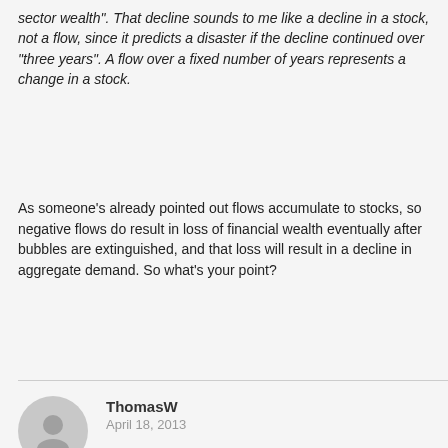sector wealth". That decline sounds to me like a decline in a stock, not a flow, since it predicts a disaster if the decline continued over "three years". A flow over a fixed number of years represents a change in a stock.
As someone's already pointed out flows accumulate to stocks, so negative flows do result in loss of financial wealth eventually after bubbles are extinguished, and that loss will result in a decline in aggregate demand. So what's your point?
ThomasW
April 18, 2013
Mr. Firestone, I won't respond in detail to everything you said. Much of it I agree with, and I was trying to say much the same thing as you did about the nature of evidence, theory, etc. I will respond briefly in a couple areas.
In terms of Randall Wray's predictions, the question becomes the reasoning behind the predictions. Predicting a recession after the Clinton boom was no big deal, it's the business cycle, all expansions have been followed by recessions (and vice versa). It also wasn't hard to predict the bursting of the tech bubble of